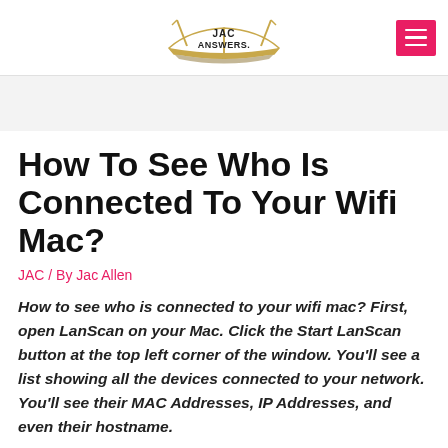JAC ANSWERS.
How To See Who Is Connected To Your Wifi Mac?
JAC / By Jac Allen
How to see who is connected to your wifi mac? First, open LanScan on your Mac. Click the Start LanScan button at the top left corner of the window. You'll see a list showing all the devices connected to your network. You'll see their MAC Addresses, IP Addresses, and even their hostname.